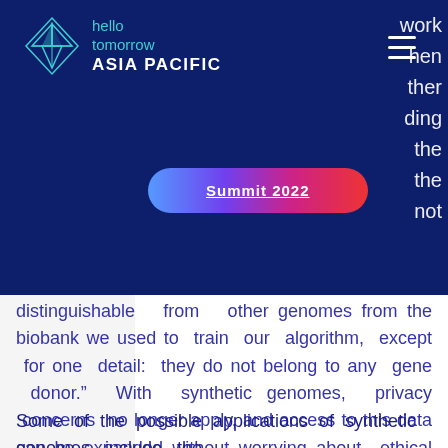[Figure (logo): Hello Tomorrow Asia Pacific logo with teal geometric diamond/mountain icon on dark navy background, with Summit 2022 button in gradient purple-red pill shape]
distinguishable from other genomes from the biobank we used to train our algorithm, except for one detail: they do not belong to any gene donor.” With synthetic genomes, privacy concerns no longer apply, and access to this data can be expanded without worrying about ethical issues, providing researchers with a wealth of samples to work with.
Some of the possible applications of synthetic genomes include the